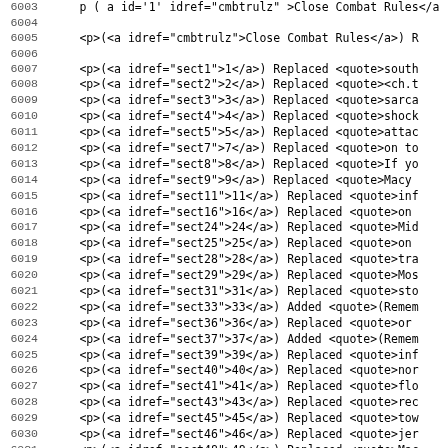Code listing with line numbers 6003-6035, showing XML/HTML markup with idref attributes and quote elements
6003: p ( a id='1' idref='cmbtrulz' >Close Combat Rules< /a ) ...
6004: (blank)
6005: <p>(<a idref="cmbtrulz">Close Combat Rules</a>) R
6006: (blank)
6007: <p>(<a idref="sect1">1</a>) Replaced <quote>south
6008: <p>(<a idref="sect2">2</a>) Replaced <quote><ch.t
6009: <p>(<a idref="sect3">3</a>) Replaced <quote>sarca
6010: <p>(<a idref="sect4">4</a>) Replaced <quote>shock
6011: <p>(<a idref="sect5">5</a>) Replaced <quote>attac
6012: <p>(<a idref="sect7">7</a>) Replaced <quote>on to
6013: <p>(<a idref="sect8">8</a>) Replaced <quote>If yo
6014: <p>(<a idref="sect9">9</a>) Replaced <quote>Macy
6015: <p>(<a idref="sect11">11</a>) Replaced <quote>inf
6016: <p>(<a idref="sect16">16</a>) Replaced <quote>on
6017: <p>(<a idref="sect24">24</a>) Replaced <quote>Mid
6018: <p>(<a idref="sect25">25</a>) Replaced <quote>on
6019: <p>(<a idref="sect28">28</a>) Replaced <quote>tra
6020: <p>(<a idref="sect29">29</a>) Replaced <quote>Mos
6021: <p>(<a idref="sect31">31</a>) Replaced <quote>sto
6022: <p>(<a idref="sect33">33</a>) Added <quote>(Remem
6023: <p>(<a idref="sect36">36</a>) Replaced <quote>or
6024: <p>(<a idref="sect37">37</a>) Added <quote>(Remem
6025: <p>(<a idref="sect39">39</a>) Replaced <quote>inf
6026: <p>(<a idref="sect40">40</a>) Replaced <quote>nor
6027: <p>(<a idref="sect41">41</a>) Replaced <quote>flo
6028: <p>(<a idref="sect43">43</a>) Replaced <quote>rec
6029: <p>(<a idref="sect45">45</a>) Replaced <quote>tow
6030: <p>(<a idref="sect46">46</a>) Replaced <quote>jer
6031: <p>(<a idref="sect48">48</a>) Replaced <quote>Mac
6032: <p>(<a idref="sect49">49</a>) Replaced <quote>You
6033: <p>(<a idref="sect50">50</a>) Replaced <quote>fri
6034: <p>(<a idref="sect51">51</a>) Replaced <quote>1 R
6035: <p>(<a idref="sect52">52</a>) Replaced <quote>bea